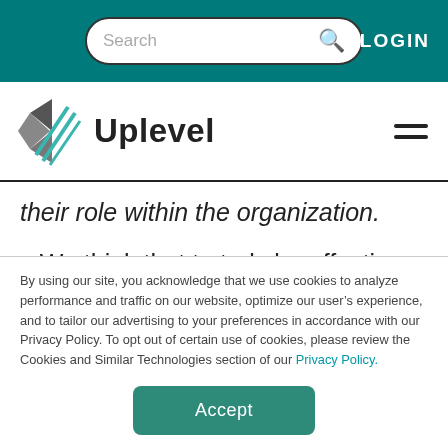Search  LOGIN
[Figure (logo): Uplevel logo with geometric diamond/checkmark icon in teal and gray, followed by the word Uplevel in bold black text]
their role within the organization.
We think that to truly be effective, you need operational metrics and people
By using our site, you acknowledge that we use cookies to analyze performance and traffic on our website, optimize our user’s experience, and to tailor our advertising to your preferences in accordance with our Privacy Policy. To opt out of certain use of cookies, please review the Cookies and Similar Technologies section of our Privacy Policy.
Accept